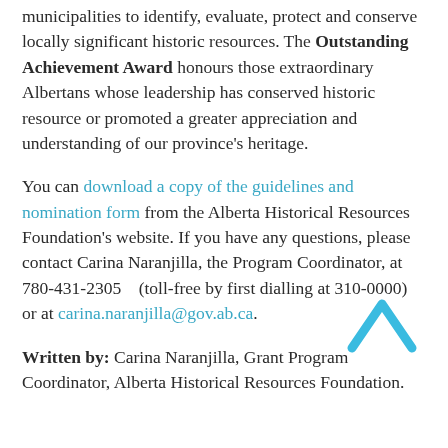municipalities to identify, evaluate, protect and conserve locally significant historic resources. The Outstanding Achievement Award honours those extraordinary Albertans whose leadership has conserved historic resource or promoted a greater appreciation and understanding of our province's heritage.
You can download a copy of the guidelines and nomination form from the Alberta Historical Resources Foundation's website. If you have any questions, please contact Carina Naranjilla, the Program Coordinator, at 780-431-2305    (toll-free by first dialling at 310-0000) or at carina.naranjilla@gov.ab.ca.
Written by: Carina Naranjilla, Grant Program Coordinator, Alberta Historical Resources Foundation.